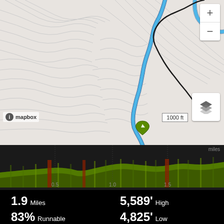[Figure (map): Topographic trail map showing a route with a blue highlighted path winding through mountainous terrain with contour lines. A green location pin marker is visible near the center-bottom of the map. Map is provided by Mapbox.]
[Figure (area-chart): Elevation profile chart showing terrain elevation over approximately 1.9 miles distance, displayed in green and brown/red colors against dark background. X-axis shows mile markers at 0.5, 1.0, and 1.5 miles.]
1.9 Miles
5,589' High
83% Runnable
4,825' Low